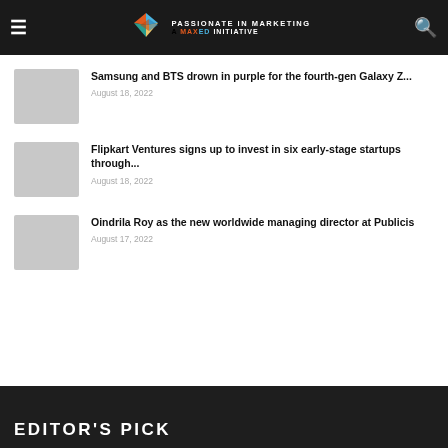Passionate in Marketing — A MaxEd Initiative
Samsung and BTS drown in purple for the fourth-gen Galaxy Z...
August 18, 2022
Flipkart Ventures signs up to invest in six early-stage startups through...
August 18, 2022
Oindrila Roy as the new worldwide managing director at Publicis
August 17, 2022
EDITOR'S PICK